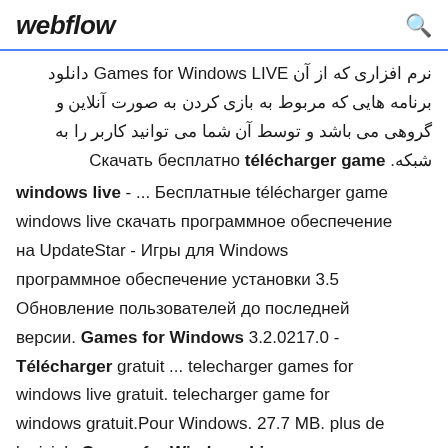webflow [search icon]
نرم افزاری که از آن Games for Windows LIVE دانلود برنامه هایی که مربوط به بازی کردن به صورت آنلاین و گروهی می باشد و توسط آن شما می توانید کاربر را به شبکه. Скачать бесплатно télécharger game windows live - ... Бесплатные télécharger game windows live скачать программное обеспечение на UpdateStar - Игры для Windows программное обеспечение установки 3.5 Обновление пользователей до последней версии. Games for Windows 3.2.0217.0 - Télécharger gratuit ... telecharger games for windows live gratuit. telecharger game for windows gratuit.Pour Windows. 27.7 MB. plus de logiciels Games for Windows Live скачать для windows 7,8,10 Games for Windows Live —